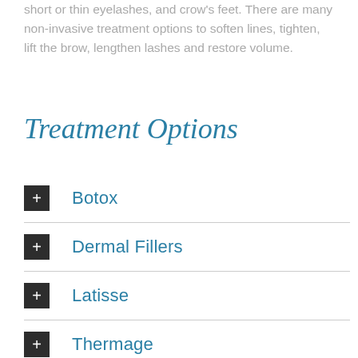short or thin eyelashes, and crow's feet. There are many non-invasive treatment options to soften lines, tighten, lift the brow, lengthen lashes and restore volume.
Treatment Options
Botox
Dermal Fillers
Latisse
Thermage